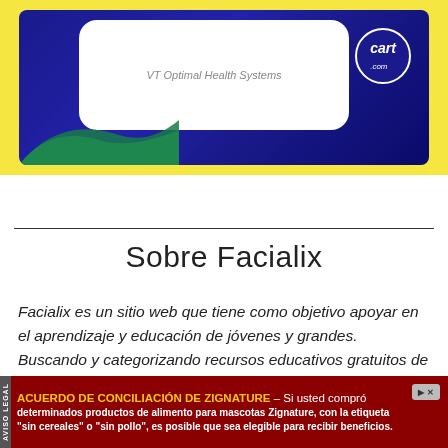[Figure (other): Advertisement banner with dark blue background, white rounded rectangle in center with 'VT Optimal Health Systems' text, green wave in lower left, and cart.com logo circle in upper right]
Sobre Facialix
Facialix es un sitio web que tiene como objetivo apoyar en el aprendizaje y educación de jóvenes y grandes. Buscando y categorizando recursos educativos gratuitos de internet, de esta manera Facialix ayuda en el constante aprendizaje de todos.
[Figure (other): Bottom advertisement bar for ACUERDO DE CONCILIACIÓN DE ZIGNATURE with dark red background and yellow text, mentioning pet food products 'sin cereales' or 'sin pollo'. Includes AVISO LEGAL vertical label on left side.]